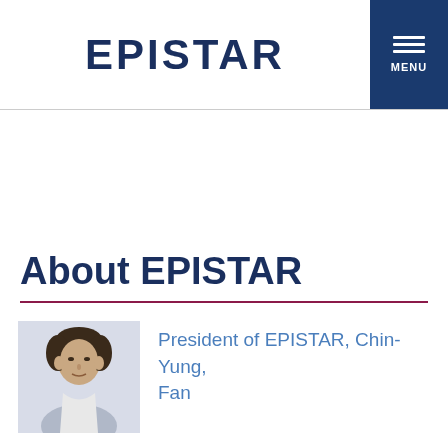EPISTAR
About EPISTAR
[Figure (photo): Portrait photo of President of EPISTAR, Chin-Yung, Fan — partial head and shoulder view against a light grey background]
President of EPISTAR, Chin-Yung, Fan